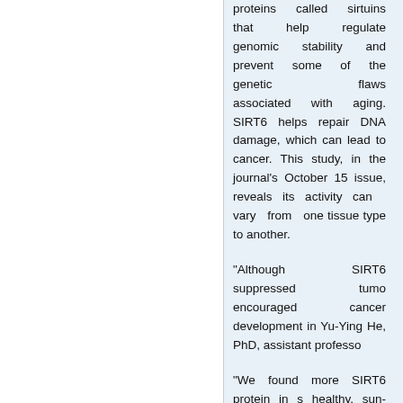proteins called sirtuins that help regulate genomic stability and prevent some of the genetic flaws associated with aging. SIRT6 helps repair DNA damage, which can lead to cancer. This study, in the journal's October 15 issue, reveals its activity can vary from one tissue type to another.
"Although SIRT6 suppressed tumor... encouraged cancer development in... Yu-Ying He, PhD, assistant professor...
"We found more SIRT6 protein in s... healthy, sun-protected human skin,"... mice, tumor development decreased...
To understand how SIRT6 contribute...